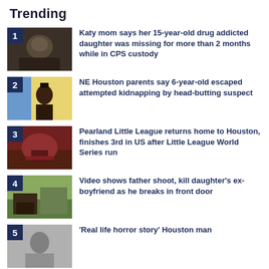Trending
1 - Katy mom says her 15-year-old drug addicted daughter was missing for more than 2 months while in CPS custody
2 - NE Houston parents say 6-year-old escaped attempted kidnapping by head-butting suspect
3 - Pearland Little League returns home to Houston, finishes 3rd in US after Little League World Series run
4 - Video shows father shoot, kill daughter's ex-boyfriend as he breaks in front door
5 - 'Real life horror story' Houston man